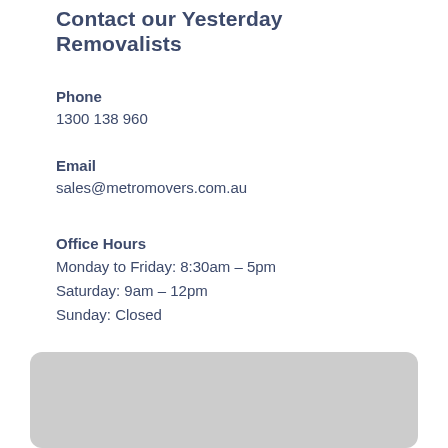Contact our Yesterday Removalists
Phone
1300 138 960
Email
sales@metromovers.com.au
Office Hours
Monday to Friday: 8:30am – 5pm
Saturday: 9am – 12pm
Sunday: Closed
*We move you 7 days a week
[Figure (map): Embedded map widget showing a geographic location, displayed as a rounded grey box.]